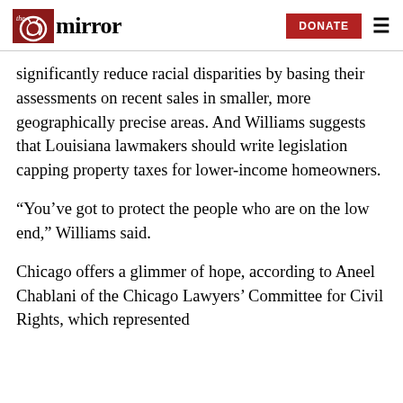the mirror — DONATE
significantly reduce racial disparities by basing their assessments on recent sales in smaller, more geographically precise areas. And Williams suggests that Louisiana lawmakers should write legislation capping property taxes for lower-income homeowners.
“You’ve got to protect the people who are on the low end,” Williams said.
Chicago offers a glimmer of hope, according to Aneel Chablani of the Chicago Lawyers’ Committee for Civil Rights, which represented